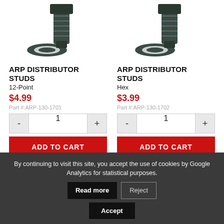[Figure (photo): Product image of ARP Distributor Studs 12-Point hardware with washer]
[Figure (photo): Product image of ARP Distributor Studs Hex hardware with washer]
ARP DISTRIBUTOR STUDS
12-Point
$4.99
Part #:ARP-130-1701
ARP DISTRIBUTOR STUDS
Hex
$3.99
Part #:ARP-130-1702
By continuing to visit this site, you accept the use of cookies by Google Analytics for statistical purposes.
Read more
Reject
Accept